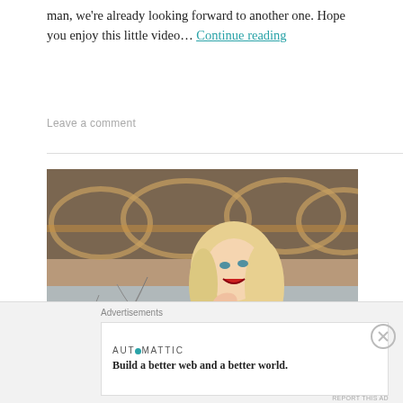man, we’re already looking forward to another one. Hope you enjoy this little video… Continue reading
Leave a comment
[Figure (photo): Portrait of a smiling blonde woman wearing a black lace top, photographed outdoors in front of a bridge with warm lights, river in background.]
UNCATEGORIZED
Advertisements
AUTOMATTIC
Build a better web and a better world.